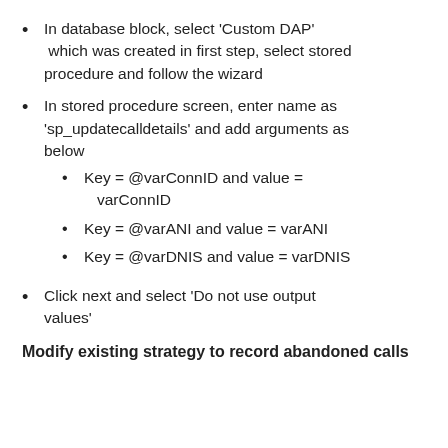In database block, select 'Custom DAP' which was created in first step, select stored procedure and follow the wizard
In stored procedure screen, enter name as 'sp_updatecalldetails' and add arguments as below
Key = @varConnID and value = varConnID
Key = @varANI and value = varANI
Key = @varDNIS and value = varDNIS
Click next and select 'Do not use output values'
Modify existing strategy to record abandoned calls